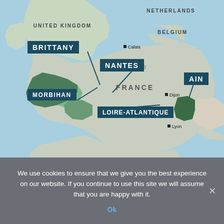[Figure (map): Map of western Europe showing France and neighboring countries (United Kingdom, Netherlands, Belgium), with highlighted regions: Brittany, Nantes, Morbihan, Loire-Atlantique, and Ain. Cities marked: Calais, Brest, Paris (capital star), Dijon, Lyon.]
We use cookies to ensure that we give you the best experience on our website. If you continue to use this site we will assume that you are happy with it.
Ok